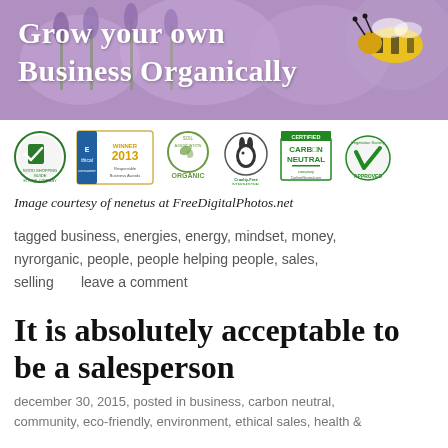[Figure (illustration): Banner image with purple floral background and a bee on the right, with white serif text reading 'Grow your own Business Organically']
[Figure (illustration): Row of certification logos: Good Shopping Guide Ethical Company, Ethical Consumer Winner 2013 Responsible Business Awards, Soil Association Organic, Cruelty-Free International, Certified Carbon Neutral, Vegetarian Society Approved]
Image courtesy of nenetus at FreeDigitalPhotos.net
tagged business, energies, energy, mindset, money, nyrorganic, people, people helping people, sales, selling      leave a comment
It is absolutely acceptable to be a salesperson
december 30, 2015, posted in business, carbon neutral, community, eco-friendly, environment, ethical sales, health &